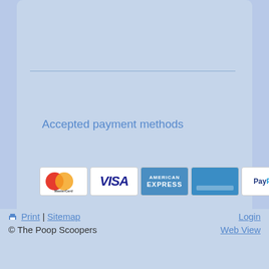Accepted payment methods
[Figure (illustration): Payment method icons: MasterCard, VISA, American Express, Blue card, PayPal, Green card, Pink cash card, Dark navy card]
Connect with Us
[Figure (logo): Facebook logo icon - blue rounded square with white 'f' letter]
Print | Sitemap    Login
© The Poop Scoopers    Web View